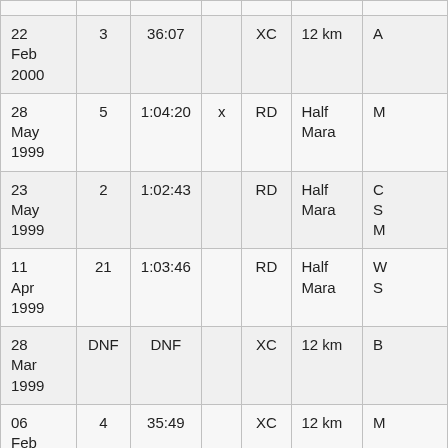| Date | Place | Time |  | Type | Distance | Race |
| --- | --- | --- | --- | --- | --- | --- |
| 22 Feb 2000 | 3 | 36:07 |  | XC | 12 km | A… |
| 28 May 1999 | 5 | 1:04:20 | x | RD | Half Mara | M… |
| 23 May 1999 | 2 | 1:02:43 |  | RD | Half Mara | C… S… M… |
| 11 Apr 1999 | 21 | 1:03:46 |  | RD | Half Mara | W… S… |
| 28 Mar 1999 | DNF | DNF |  | XC | 12 km | B… |
| 06 Feb … | 4 | 35:49 |  | XC | 12 km | M… |